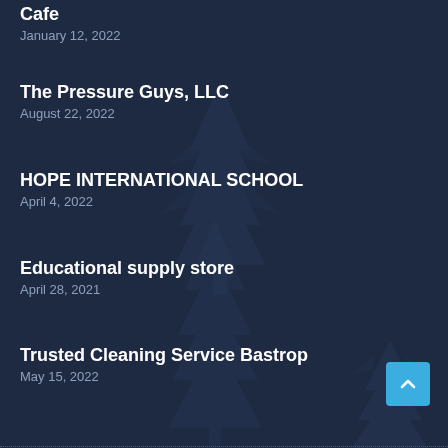Cafe
January 12, 2022
The Pressure Guys, LLC
August 22, 2022
HOPE INTERNATIONAL SCHOOL
April 4, 2022
Educational supply store
April 28, 2021
Trusted Cleaning Service Bastrop
May 15, 2022